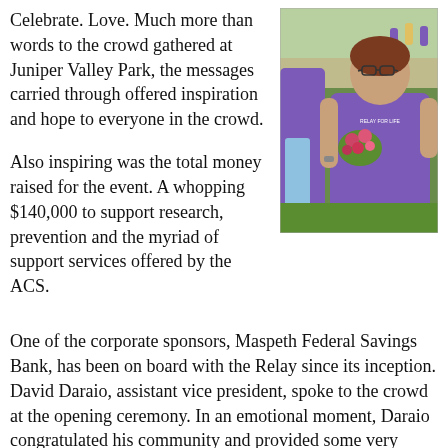Celebrate. Love. Much more than words to the crowd gathered at Juniper Valley Park, the messages carried through offered inspiration and hope to everyone in the crowd.

Also inspiring was the total money raised for the event. A whopping $140,000 to support research, prevention and the myriad of support services offered by the ACS.
[Figure (photo): A woman in a purple t-shirt holding a bouquet of flowers, standing outdoors at a park event. Other people in purple shirts are visible in the background.]
One of the corporate sponsors, Maspeth Federal Savings Bank, has been on board with the Relay since its inception. David Daraio, assistant vice president, spoke to the crowd at the opening ceremony. In an emotional moment, Daraio congratulated his community and provided some very reassuring information. “This community can count on Maspeth Federal Savings as a sponsor of this event for